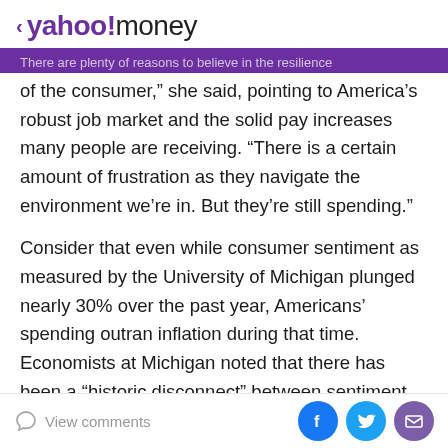< yahoo!money
of the consumer,” she said, pointing to America’s robust job market and the solid pay increases many people are receiving. “There is a certain amount of frustration as they navigate the environment we’re in. But they’re still spending.”
Consider that even while consumer sentiment as measured by the University of Michigan plunged nearly 30% over the past year, Americans’ spending outran inflation during that time. Economists at Michigan noted that there has been a “historic disconnect” between sentiment and actual consumer behavior.
Some economists warn that steady consumer spending
View comments